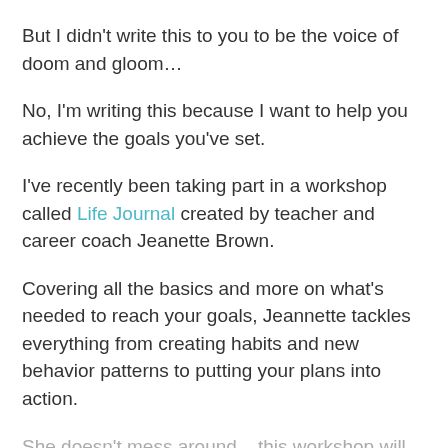But I didn't write this to you to be the voice of doom and gloom…
No, I'm writing this because I want to help you achieve the goals you've set.
I've recently been taking part in a workshop called Life Journal created by teacher and career coach Jeanette Brown.
Covering all the basics and more on what's needed to reach your goals, Jeannette tackles everything from creating habits and new behavior patterns to putting your plans into action.
She doesn't mess around – this workshop will require